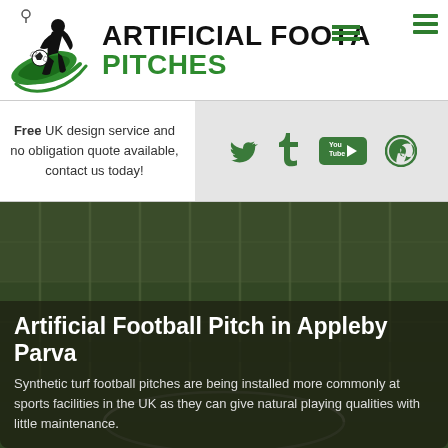[Figure (logo): Artificial Football Pitches logo with footballer silhouette and football, green swoosh, location pin icon]
ARTIFICIAL FOOTBALL PITCHES
Free UK design service and no obligation quote available, contact us today!
[Figure (other): Social media icons: Twitter, Tumblr, YouTube, Pinterest in green on light grey background]
Artificial Football Pitch in Appleby Parva
Synthetic turf football pitches are being installed more commonly at sports facilities in the UK as they can give natural playing qualities with little maintenance.